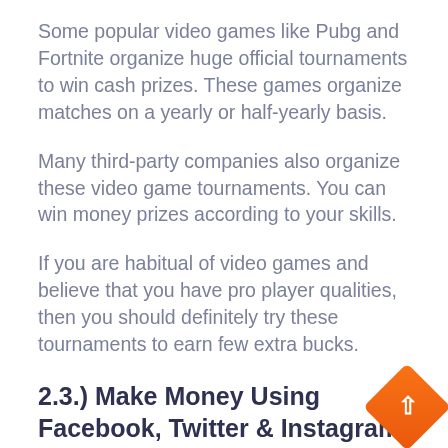Some popular video games like Pubg and Fortnite organize huge official tournaments to win cash prizes. These games organize matches on a yearly or half-yearly basis.
Many third-party companies also organize these video game tournaments. You can win money prizes according to your skills.
If you are habitual of video games and believe that you have pro player qualities, then you should definitely try these tournaments to earn few extra bucks.
2.3.) Make Money Using Facebook, Twitter & Instagram:
Have you ever heard about making money online through these social networking sites?